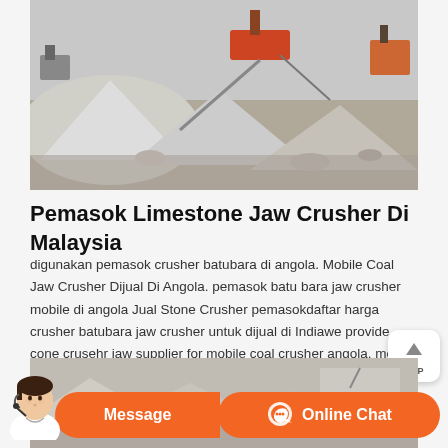[Figure (photo): Aerial view of a limestone quarry or stone crushing site with large piles of crushed stone/gravel, heavy machinery and conveyor systems, dusty outdoor mining operation.]
Pemasok Limestone Jaw Crusher Di Malaysia
digunakan pemasok crusher batubara di angola. Mobile Coal Jaw Crusher Dijual Di Angola. pemasok batu bara jaw crusher mobile di angola Jual Stone Crusher pemasokdaftar harga crusher batubara jaw crusher untuk dijual di Indiawe provide cone crusehr jaw supplier for mobile coal crusher angola. mobile coal jaw crusher for hire YouTube. 08/10/2018 An Impact
[Figure (photo): Partial view of a stone crushing or quarry facility, partially obscured by chat interface overlay at the bottom of the page.]